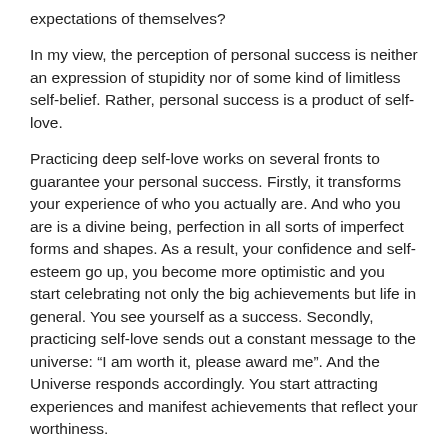expectations of themselves?
In my view, the perception of personal success is neither an expression of stupidity nor of some kind of limitless self-belief. Rather, personal success is a product of self-love.
Practicing deep self-love works on several fronts to guarantee your personal success. Firstly, it transforms your experience of who you actually are. And who you are is a divine being, perfection in all sorts of imperfect forms and shapes. As a result, your confidence and self-esteem go up, you become more optimistic and you start celebrating not only the big achievements but life in general. You see yourself as a success. Secondly, practicing self-love sends out a constant message to the universe: “I am worth it, please award me”. And the Universe responds accordingly. You start attracting experiences and manifest achievements that reflect your worthiness.